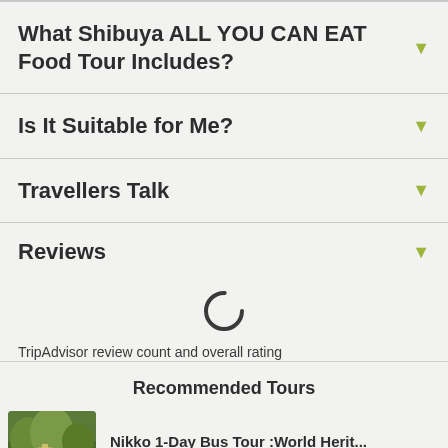What Shibuya ALL YOU CAN EAT Food Tour Includes?
Is It Suitable for Me?
Travellers Talk
Reviews
[Figure (other): Loading spinner (circular arc spinner icon)]
TripAdvisor review count and overall rating
Recommended Tours
Nikko 1-Day Bus Tour :World Herit...
[Figure (photo): Thumbnail photo of a scenic forested hillside location, likely Nikko]